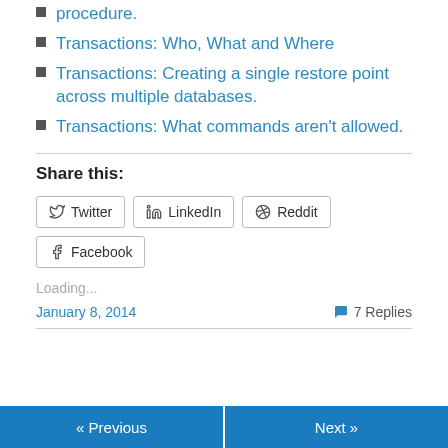procedure.
Transactions: Who, What and Where
Transactions: Creating a single restore point across multiple databases.
Transactions: What commands aren't allowed.
Share this:
Twitter  LinkedIn  Reddit  Facebook
Loading...
January 8, 2014    7 Replies
« Previous   Next »